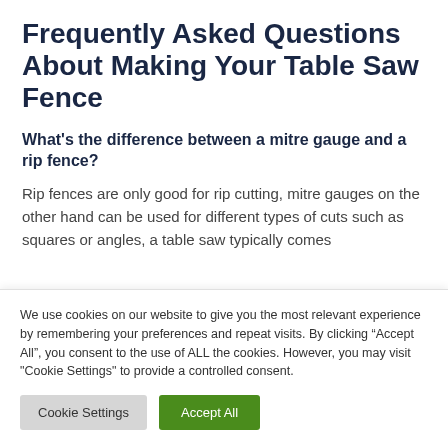Frequently Asked Questions About Making Your Table Saw Fence
What's the difference between a mitre gauge and a rip fence?
Rip fences are only good for rip cutting, mitre gauges on the other hand can be used for different types of cuts such as squares or angles, a table saw typically comes
We use cookies on our website to give you the most relevant experience by remembering your preferences and repeat visits. By clicking “Accept All”, you consent to the use of ALL the cookies. However, you may visit "Cookie Settings" to provide a controlled consent.